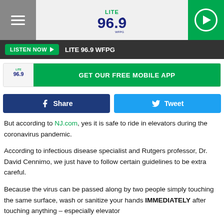[Figure (logo): LITE 96.9 WFPG radio station header with hamburger menu, logo, and play button]
LISTEN NOW ▶  LITE 96.9 WFPG
[Figure (screenshot): GET OUR FREE MOBILE APP banner with LITE 96.9 logo]
f  Share   🐦  Tweet
But according to NJ.com, yes it is safe to ride in elevators during the coronavirus pandemic.
According to infectious disease specialist and Rutgers professor, Dr. David Cennimo, we just have to follow certain guidelines to be extra careful.
Because the virus can be passed along by two people simply touching the same surface, wash or sanitize your hands IMMEDIATELY after touching anything – especially elevator